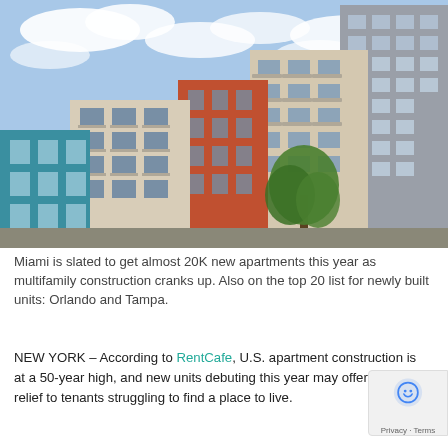[Figure (photo): Photograph of several modern multifamily apartment buildings with colorful facades — teal/blue, orange/brick, and beige/gray — against a partly cloudy sky with trees in the foreground.]
Miami is slated to get almost 20K new apartments this year as multifamily construction cranks up. Also on the top 20 list for newly built units: Orlando and Tampa.
NEW YORK – According to RentCafe, U.S. apartment construction is at a 50-year high, and new units debuting this year may offer some relief to tenants struggling to find a place to live.
The listing service estimates that 420,000 apartments should be...